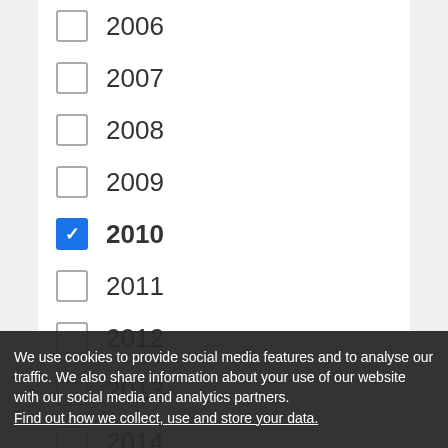2006 (unchecked)
2007 (unchecked)
2008 (unchecked)
2009 (unchecked)
2010 (checked)
2011 (unchecked)
2012 (unchecked)
2013 (unchecked)
2014 (unchecked)
2015 (checked)
2016 (unchecked)
2017 (unchecked)
2018 (checked)
2019 (partially visible, unchecked)
We use cookies to provide social media features and to analyse our traffic. We also share information about your use of our website with our social media and analytics partners. Find out how we collect, use and store your data.